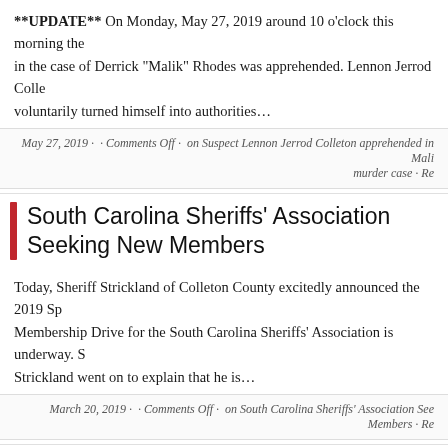**UPDATE** On Monday, May 27, 2019 around 10 o'clock this morning the in the case of Derrick "Malik" Rhodes was apprehended. Lennon Jerrod Colle voluntarily turned himself into authorities…
May 27, 2019 · · Comments Off · on Suspect Lennon Jerrod Colleton apprehended in Mali murder case · Re
South Carolina Sheriffs' Association Seeking New Members
Today, Sheriff Strickland of Colleton County excitedly announced the 2019 Sp Membership Drive for the South Carolina Sheriffs' Association is underway. S Strickland went on to explain that he is…
March 20, 2019 · · Comments Off · on South Carolina Sheriffs' Association See Members · Re
Cause of death determined in Macon Lane incident
On Wednesday, March 6, 2019, Colleton County deputies resp to the residence of 799 Macon Lane, located in Walterboro, du physical altercation at the residence. Upon their arrival….